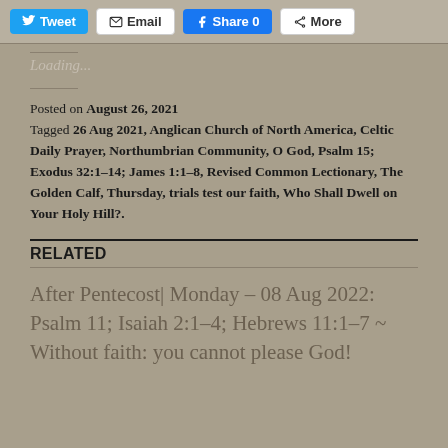Tweet | Email | Share 0 | More
Loading...
Posted on August 26, 2021
Tagged 26 Aug 2021, Anglican Church of North America, Celtic Daily Prayer, Northumbrian Community, O God, Psalm 15; Exodus 32:1-14; James 1:1-8, Revised Common Lectionary, The Golden Calf, Thursday, trials test our faith, Who Shall Dwell on Your Holy Hill?.
RELATED
After Pentecost| Monday – 08 Aug 2022: Psalm 11; Isaiah 2:1-4; Hebrews 11:1-7 ~ Without faith: you cannot please God!